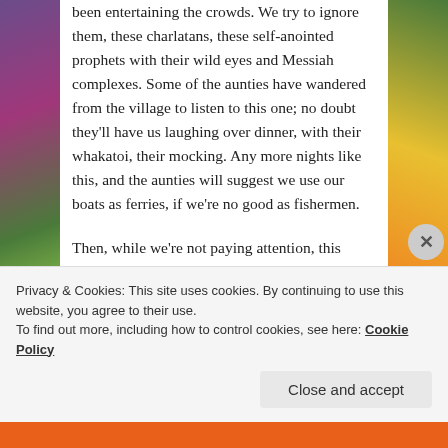been entertaining the crowds. We try to ignore them, these charlatans, these self-anointed prophets with their wild eyes and Messiah complexes. Some of the aunties have wandered from the village to listen to this one; no doubt they'll have us laughing over dinner, with their whakatoi, their mocking. Any more nights like this, and the aunties will suggest we use our boats as ferries, if we're no good as fishermen.
Then, while we're not paying attention, this fellow appears, and without even asking, gets into Simon's boat! First he asks Simon to row him out from the shore a bit—maybe he thinks we are ferrymen—and then he keeps talking to the people crowding onto our bit of the beach, getting in the way, mocking our poor catch. Ignores our tikanga, but
Privacy & Cookies: This site uses cookies. By continuing to use this website, you agree to their use.
To find out more, including how to control cookies, see here: Cookie Policy
Close and accept